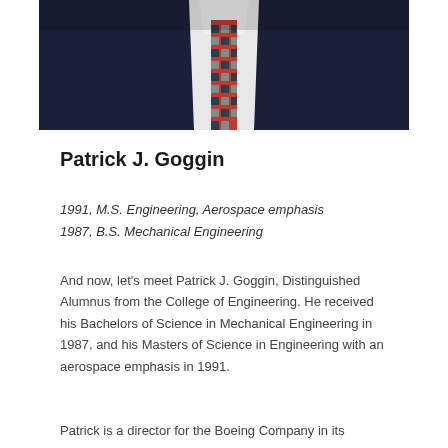[Figure (photo): Portrait photograph of Patrick J. Goggin, showing a man in a dark suit jacket with a white shirt and a red and blue patterned tie, cropped to show chest and lower face area.]
Patrick J. Goggin
1991, M.S. Engineering, Aerospace emphasis
1987, B.S. Mechanical Engineering
And now, let's meet Patrick J. Goggin, Distinguished Alumnus from the College of Engineering. He received his Bachelors of Science in Mechanical Engineering in 1987, and his Masters of Science in Engineering with an aerospace emphasis in 1991.
Patrick is a director for the Boeing Company in its